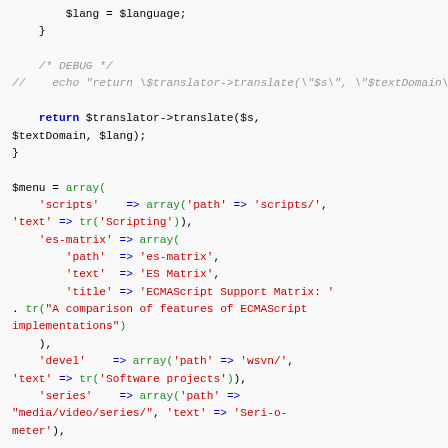[Figure (screenshot): Syntax-highlighted PHP source code showing a code snippet with variable assignments, a DEBUG comment block, a return statement using $translator->translate(), and a $menu array definition with nested arrays for 'scripts', 'es-matrix', 'devel', and 'series' keys.]